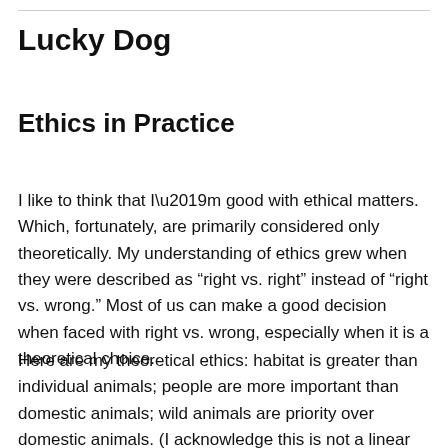Lucky Dog
Ethics in Practice
I like to think that I’m good with ethical matters. Which, fortunately, are primarily considered only theoretically. My understanding of ethics grew when they were described as “right vs. right” instead of “right vs. wrong.” Most of us can make a good decision when faced with right vs. wrong, especially when it is a theoretical choice.
Here are my theoretical ethics: habitat is greater than individual animals; people are more important than domestic animals; wild animals are priority over domestic animals. (I acknowledge this is not a linear model.